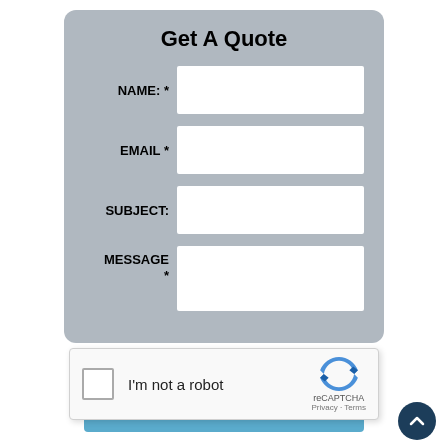Get A Quote
NAME: *
EMAIL *
SUBJECT:
MESSAGE *
[Figure (screenshot): reCAPTCHA widget with checkbox labeled 'I'm not a robot' and the reCAPTCHA logo with Privacy and Terms links]
Submit